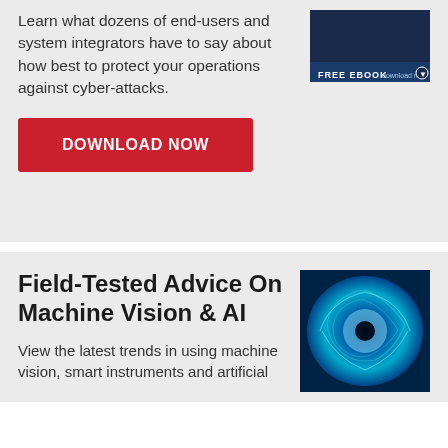Learn what dozens of end-users and system integrators have to say about how best to protect your operations against cyber-attacks.
[Figure (other): FREE EBOOK download now button/banner image]
DOWNLOAD NOW
Field-Tested Advice On Machine Vision & AI
[Figure (photo): Blue abstract eye or vortex image for Machine Vision & AI ebook]
View the latest trends in using machine vision, smart instruments and artificial